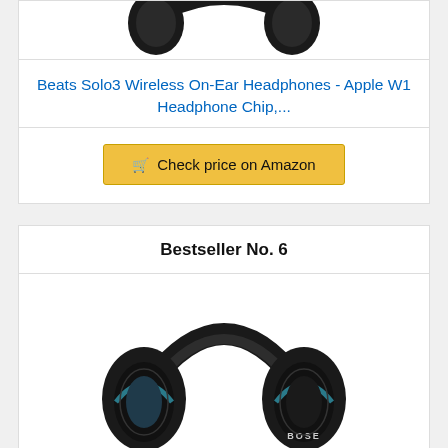[Figure (photo): Partial view of Beats Solo3 black headphones (top portion only visible)]
Beats Solo3 Wireless On-Ear Headphones - Apple W1 Headphone Chip,...
Check price on Amazon
Bestseller No. 6
[Figure (photo): Bose SoundLink over-ear wireless headphones in black with teal accent ring, BOSE logo visible on right ear cup]